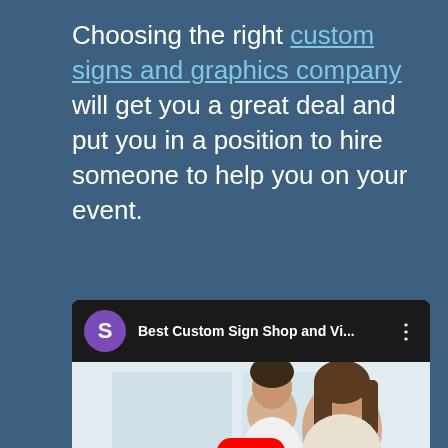Choosing the right custom signs and graphics company will get you a great deal and put you in a position to hire someone to help you on your event.
[Figure (screenshot): Embedded YouTube video player showing 'Best Custom Sign Shop and Vi...' with a channel icon (purple circle with S), video thumbnail showing two people working at a desk, and a red play button overlay.]